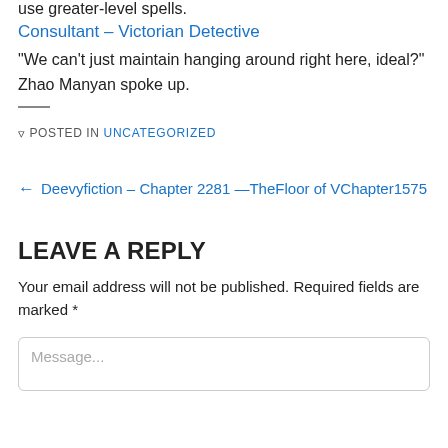use greater-level spells.
Consultant – Victorian Detective
“We can’t just maintain hanging around right here, ideal?” Zhao Manyan spoke up.
POSTED IN UNCATEGORIZED
← Deevyfiction – Chapter 2281 — The Floor of Wind – Chapter 1575 is next →
LEAVE A REPLY
Your email address will not be published. Required fields are marked *
Message...